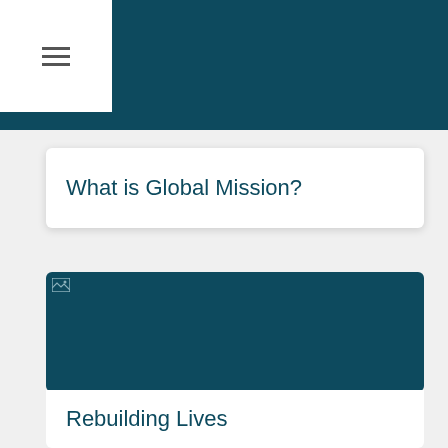[Figure (screenshot): Top dark teal navigation banner with white hamburger menu icon box in top-left corner]
What is Global Mission?
[Figure (photo): Large dark teal image block with a broken image icon in the top-left corner]
Rebuilding Lives